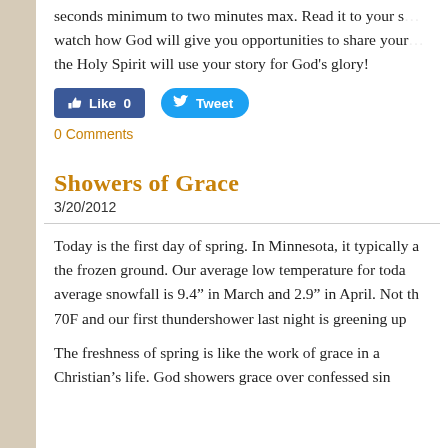seconds minimum to two minutes max. Read it to your s... watch how God will give you opportunities to share your... the Holy Spirit will use your story for God's glory!
[Figure (screenshot): Facebook Like button (blue, count 0) and Twitter Tweet button (blue, pill-shaped)]
0 Comments
Showers of Grace
3/20/2012
Today is the first day of spring. In Minnesota, it typically a... the frozen ground. Our average low temperature for toda... average snowfall is 9.4" in March and 2.9" in April. Not th... 70F and our first thundershower last night is greening up
The freshness of spring is like the work of grace in a Christian's life. God showers grace over confessed sin...